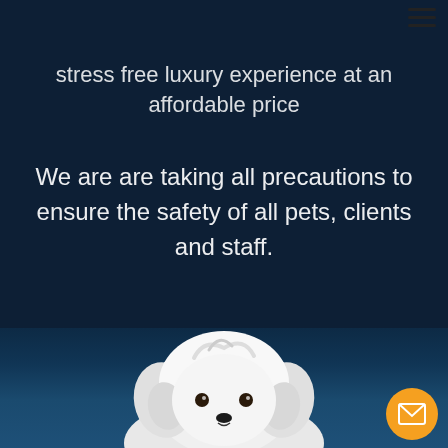[Figure (other): Hamburger menu icon (three horizontal lines) in top right corner]
stress free luxury experience at an affordable price
We are are taking all precautions to ensure the safety of all pets, clients and staff.
[Figure (photo): White fluffy Maltese puppy photographed against a dark navy blue background, looking upward slightly]
[Figure (other): Orange circular email/envelope button in bottom right corner]